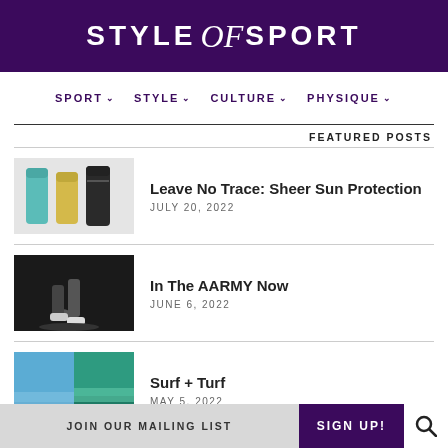STYLE of SPORT
SPORT ∨  STYLE ∨  CULTURE ∨  PHYSIQUE ∨
FEATURED POSTS
Leave No Trace: Sheer Sun Protection — JULY 20, 2022
In The AARMY Now — JUNE 6, 2022
Surf + Turf — MAY 5, 2022
JOIN OUR MAILING LIST   SIGN UP!